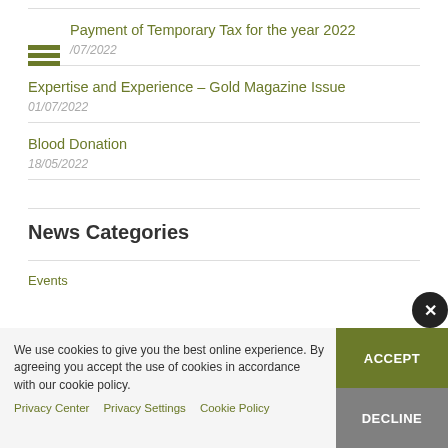Payment of Temporary Tax for the year 2022
/07/2022
Expertise and Experience – Gold Magazine Issue
01/07/2022
Blood Donation
18/05/2022
News Categories
Events
We use cookies to give you the best online experience. By agreeing you accept the use of cookies in accordance with our cookie policy.
Privacy Center    Privacy Settings    Cookie Policy